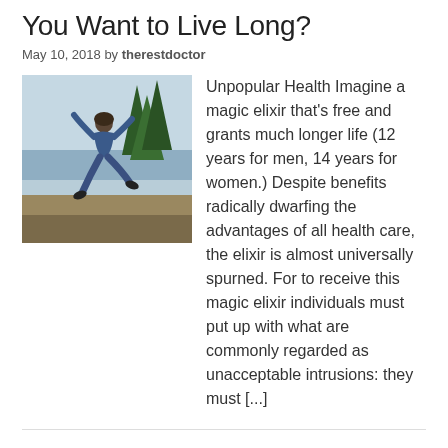You Want to Live Long?
May 10, 2018 by therestdoctor
[Figure (photo): Person jumping in the air outdoors near trees and water, photographed from below against a grey sky]
Unpopular Health Imagine a magic elixir that's free and grants much longer life (12 years for men, 14 years for women.)  Despite benefits radically dwarfing the advantages of all health care, the elixir is almost universally spurned.   For to receive this magic elixir individuals must put up with what are commonly regarded as unacceptable intrusions:  they must [...]